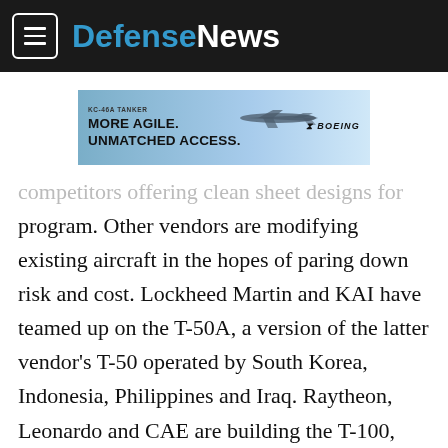DefenseNews
[Figure (advertisement): Boeing KC-46A Tanker advertisement banner with blue sky background and aircraft silhouette. Text reads: KC-46A TANKER / MORE AGILE. / UNMATCHED ACCESS. Boeing logo on right.]
competitors offering clean sheet designs for the T-X program. Other vendors are modifying existing aircraft in the hopes of paring down risk and cost. Lockheed Martin and KAI have teamed up on the T-50A, a version of the latter vendor's T-50 operated by South Korea, Indonesia, Philippines and Iraq. Raytheon, Leonardo and CAE are building the T-100, based on Leonardo's M-346 platform flown by the Italian, Israeli and Singapore air forces.